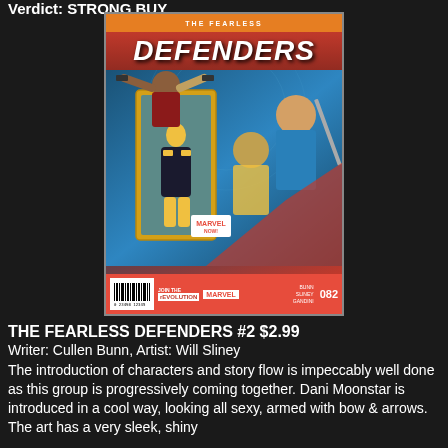Verdict: STRONG BUY
[Figure (photo): Comic book cover for The Fearless Defenders #2 (Marvel Now!). Shows superheroines including Dani Moonstar and Valkyrie. Action figure variant cover. Credits: Bunn, Sliney, Gandini. Issue #082.]
THE FEARLESS DEFENDERS #2 $2.99
Writer: Cullen Bunn, Artist: Will Sliney
The introduction of characters and story flow is impeccably well done as this group is progressively coming together. Dani Moonstar is introduced in a cool way, looking all sexy, armed with bow & arrows. The art has a very sleek, shiny